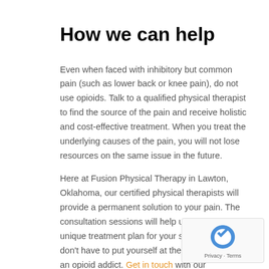How we can help
Even when faced with inhibitory but common pain (such as lower back or knee pain), do not use opioids. Talk to a qualified physical therapist to find the source of the pain and receive holistic and cost-effective treatment. When you treat the underlying causes of the pain, you will not lose resources on the same issue in the future.
Here at Fusion Physical Therapy in Lawton, Oklahoma, our certified physical therapists will provide a permanent solution to your pain. The consultation sessions will help us to create a unique treatment plan for your specific pain. You don’t have to put yourself at the risk of becoming an opioid addict. Get in touch with our professional physical